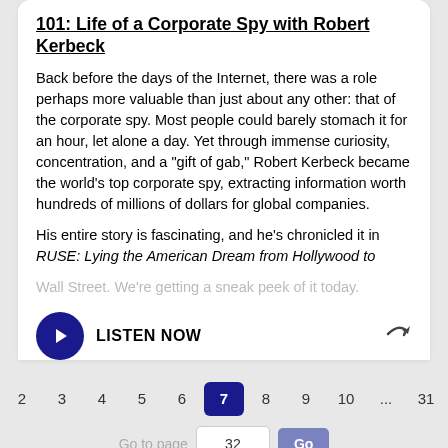101: Life of a Corporate Spy with Robert Kerbeck
Back before the days of the Internet, there was a role perhaps more valuable than just about any other: that of the corporate spy. Most people could barely stomach it for an hour, let alone a day. Yet through immense curiosity, concentration, and a "gift of gab," Robert Kerbeck became the world's top corporate spy, extracting information worth hundreds of millions of dollars for global companies.
His entire story is fascinating, and he's chronicled it in RUSE: Lying the American Dream from Hollywood to Wall Street. We're getting a sneak peek of it today.
[Figure (infographic): Play button (dark blue circle with right-pointing triangle) and LISTEN NOW label with share icon arrow]
Pagination: < 1 2 3 4 5 6 [7] 8 9 10 ... 31 32 >
Go to page  32  Go